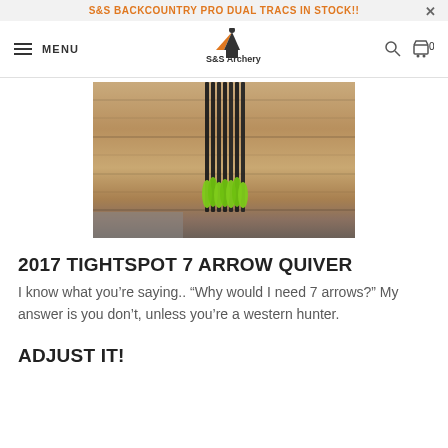S&S BACKCOUNTRY PRO DUAL TRACS IN STOCK!!
[Figure (screenshot): Navigation bar with hamburger menu, MENU text, S&S Archery logo, search icon, and cart icon showing 0 items]
[Figure (photo): Photo of archery arrows with bright green fletching leaning against a wooden plank wall]
2017 TIGHTSPOT 7 ARROW QUIVER
I know what you’re saying.. “Why would I need 7 arrows?” My answer is you don’t, unless you’re a western hunter.
ADJUST IT!